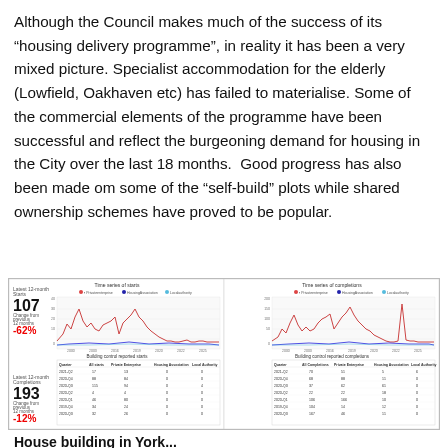Although the Council makes much of the success of its “housing delivery programme”, in reality it has been a very mixed picture. Specialist accommodation for the elderly (Lowfield, Oakhaven etc) has failed to materialise. Some of the commercial elements of the programme have been successful and reflect the burgeoning demand for housing in the City over the last 18 months. Good progress has also been made om some of the “self-build” plots while shared ownership schemes have proved to be popular.
[Figure (line-chart): Two panels showing time series of housing starts and completions by quarter, with sub-tables showing building control reported starts and completions. Left panel shows Latest 12-month Starts: 107, Change from previous 12 months: -62%. Right panel shows Latest 12-month Completions: 193, Change from previous 12 months: -12%.]
House building in York...